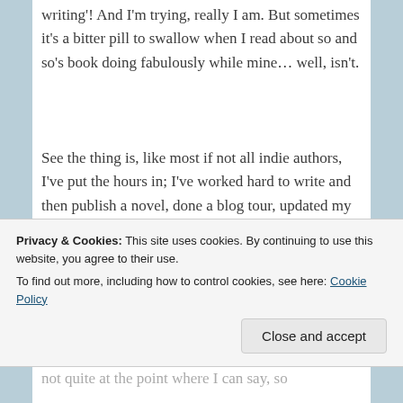writing'! And I'm trying, really I am. But sometimes it's a bitter pill to swallow when I read about so and so's book doing fabulously while mine… well, isn't.
See the thing is, like most if not all indie authors, I've put the hours in; I've worked hard to write and then publish a novel, done a blog tour, updated my blog regularly, tweeted, posted on Facebook etc etc.
Privacy & Cookies: This site uses cookies. By continuing to use this website, you agree to their use. To find out more, including how to control cookies, see here: Cookie Policy
Close and accept
not quite at the point where I can say, so